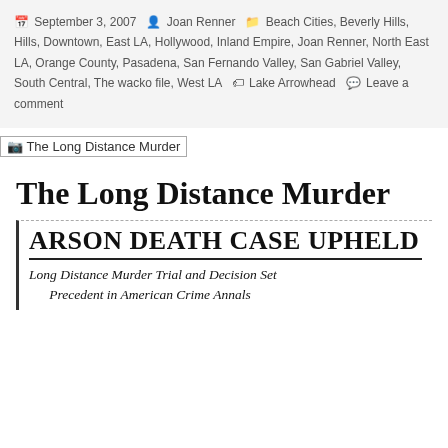September 3, 2007  Joan Renner  Beach Cities, Beverly Hills, Downtown, East LA, Hollywood, Inland Empire, Joan Renner, North East LA, Orange County, Pasadena, San Fernando Valley, San Gabriel Valley, South Central, The wacko file, West LA  Lake Arrowhead  Leave a comment
[Figure (photo): Broken image placeholder labeled 'The Long Distance Murder']
The Long Distance Murder
[Figure (screenshot): Newspaper clipping image with headline 'ARSON DEATH CASE UPHELD' and subheadline 'Long Distance Murder Trial and Decision Set Precedent in American Crime Annals']